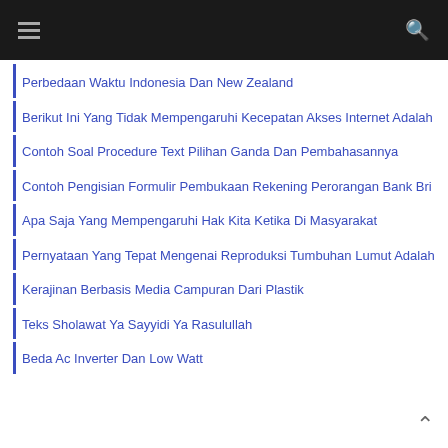Navigation menu header with hamburger and search icon
Perbedaan Waktu Indonesia Dan New Zealand
Berikut Ini Yang Tidak Mempengaruhi Kecepatan Akses Internet Adalah
Contoh Soal Procedure Text Pilihan Ganda Dan Pembahasannya
Contoh Pengisian Formulir Pembukaan Rekening Perorangan Bank Bri
Apa Saja Yang Mempengaruhi Hak Kita Ketika Di Masyarakat
Pernyataan Yang Tepat Mengenai Reproduksi Tumbuhan Lumut Adalah
Kerajinan Berbasis Media Campuran Dari Plastik
Teks Sholawat Ya Sayyidi Ya Rasulullah
Beda Ac Inverter Dan Low Watt